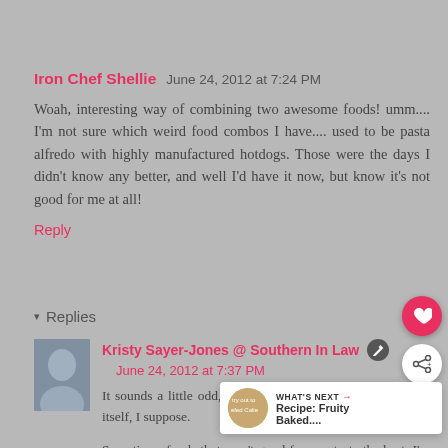Iron Chef Shellie   June 24, 2012 at 7:24 PM
Woah, interesting way of combining two awesome foods! umm.... I'm not sure which weird food combos I have.... used to be pasta alfredo with highly manufactured hotdogs. Those were the days I didn't know any better, and well I'd have it now, but know it's not good for me at all!
Reply
Replies
Kristy Sayer-Jones @ Southern In Law   June 24, 2012 at 7:37 PM
It sounds a little odd, but it's so yum! Just like carrot cake itself, I suppose.
Sometimes foods that aren't good for you taste the best, I'm all for occasional indul... I'm not much of a sweet sweet eate... (my hypoglycemia) but whilst in Louisiana I ...